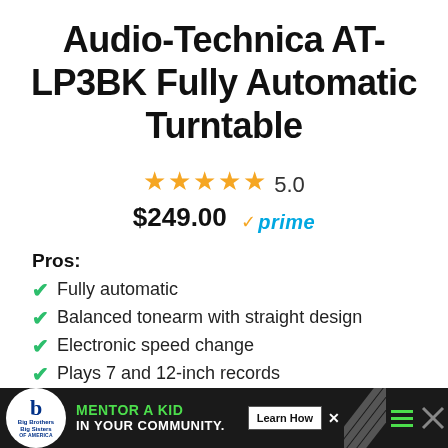Audio-Technica AT-LP3BK Fully Automatic Turntable
★★★★★ 5.0
$249.00 ✓prime
Pros:
Fully automatic
Balanced tonearm with straight design
Electronic speed change
Plays 7 and 12-inch records
Die-cast aluminum platter
2 color variants
Cons:
[Figure (other): Advertisement banner: Big Brothers Big Sisters - Mentor a Kid in Your Community. Learn How button.]